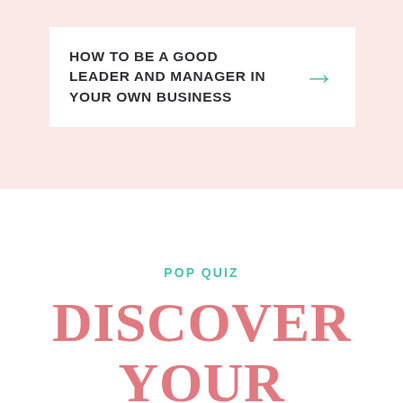HOW TO BE A GOOD LEADER AND MANAGER IN YOUR OWN BUSINESS
POP QUIZ
DISCOVER YOUR UNIQUE